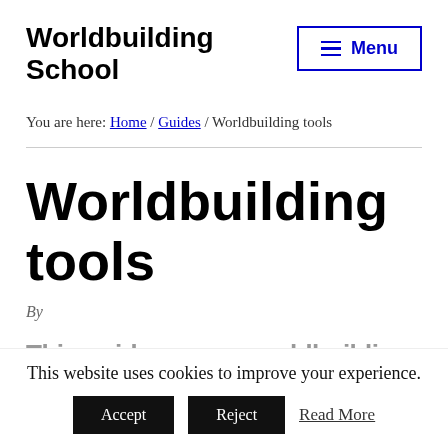Worldbuilding School
You are here: Home / Guides / Worldbuilding tools
Worldbuilding tools
By
This website uses cookies to improve your experience.
Accept   Reject   Read More